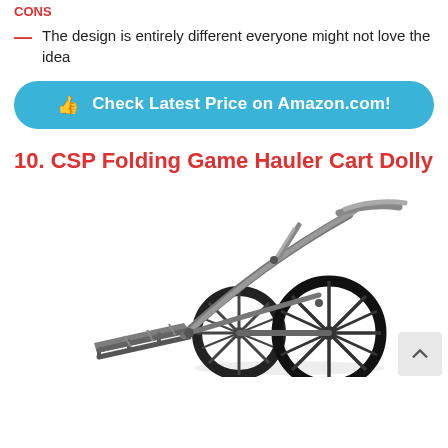CONS
The design is entirely different everyone might not love the idea
Check Latest Price on Amazon.com!
10. CSP Folding Game Hauler Cart Dolly
[Figure (photo): Photo of CSP Folding Game Hauler Cart Dolly — a two-wheeled metal frame cart with large spoke wheels and a flat loading platform, shown on a white background.]